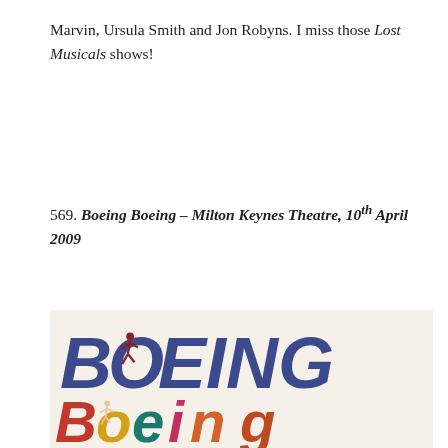Marvin, Ursula Smith and Jon Robyns. I miss those Lost Musicals shows!
569. Boeing Boeing – Milton Keynes Theatre, 10th April 2009
[Figure (photo): Promotional poster/logo for the musical Boeing Boeing, showing the title in large colorful bold italic letters with running figure silhouettes integrated into the letters. First 'Boeing' in dark blue, second 'Boeing' in multicolored letters (red, yellow, teal, pink, orange). A partial third line is visible at the bottom.]